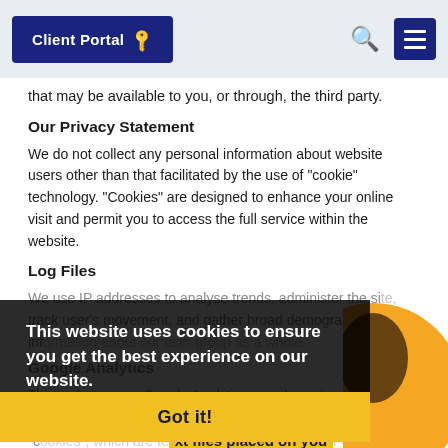Client Portal 🔑
that may be available to you, or through, the third party.
Our Privacy Statement
We do not collect any personal information about website users other than that facilitated by the use of "cookie" technology. "Cookies" are designed to enhance your online visit and permit you to access the full service within the website.
Log Files
We use IP addresses to analyse trends, administer the site, track user's movement, and gather broad demographic information about our user group as a whole.
Google Analytics
This website uses Google Analytics, a web analytics service provided by Google, Inc. ("Google"). Google Analytics uses "cookies", which are text files placed on your computer, to help the website analyze how users use the site. The information generated by the cookie about your use of the website (including your IP address) will be transmitted to and stored by
This website uses cookies to ensure you get the best experience on our website.
Learn more
Got it!